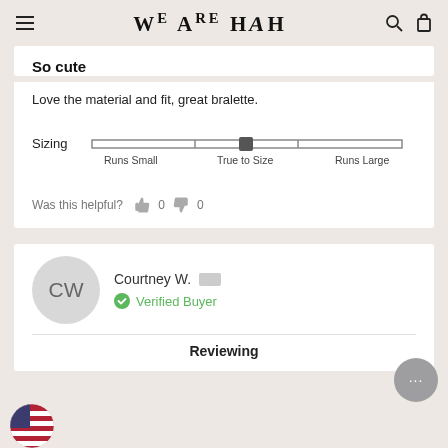We Are HAH
So cute
Love the material and fit, great bralette.
[Figure (infographic): Sizing slider bar showing position at True to Size, with labels: Runs Small, True to Size, Runs Large]
Was this helpful? 0 0
[Figure (illustration): Reviewer avatar circle with initials CW in gray]
Courtney W. Verified Buyer
Reviewing